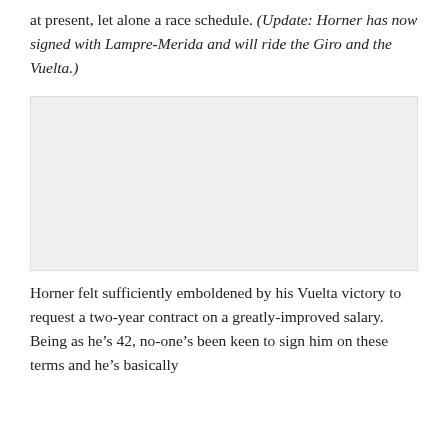at present, let alone a race schedule. (Update: Horner has now signed with Lampre-Merida and will ride the Giro and the Vuelta.)
[Figure (photo): A light grey rectangular image placeholder, no visible content.]
Horner felt sufficiently emboldened by his Vuelta victory to request a two-year contract on a greatly-improved salary. Being as he’s 42, no-one’s been keen to sign him on these terms and he’s basically